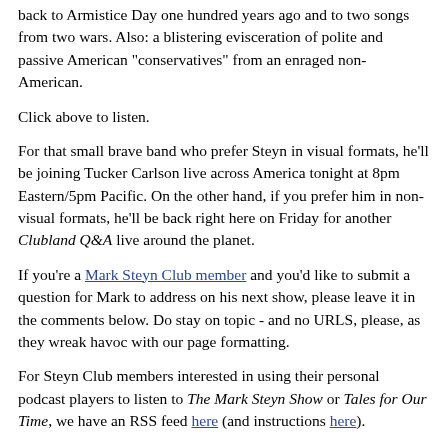back to Armistice Day one hundred years ago and to two songs from two wars. Also: a blistering evisceration of polite and passive American "conservatives" from an enraged non-American.
Click above to listen.
For that small brave band who prefer Steyn in visual formats, he'll be joining Tucker Carlson live across America tonight at 8pm Eastern/5pm Pacific. On the other hand, if you prefer him in non-visual formats, he'll be back right here on Friday for another Clubland Q&A live around the planet.
If you're a Mark Steyn Club member and you'd like to submit a question for Mark to address on his next show, please leave it in the comments below. Do stay on topic - and no URLS, please, as they wreak havoc with our page formatting.
For Steyn Club members interested in using their personal podcast players to listen to The Mark Steyn Show or Tales for Our Time, we have an RSS feed here (and instructions here).
If you prefer to read your radio shows, Steyn Club members can find the transcripts here.
If you're just catching on to these audio diversions, we've done